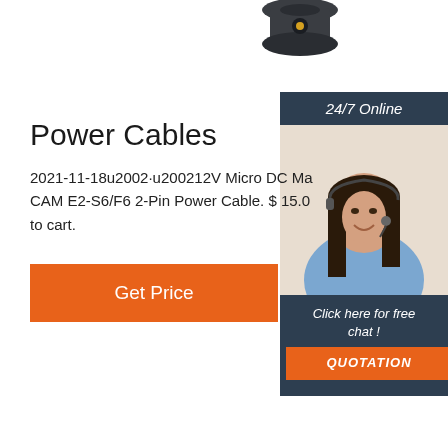[Figure (photo): Partial top view of a dark grey/black electrical connector or cable component against a white background]
Power Cables
2021-11-18u2002·u200212V Micro DC Ma CAM E2-S6/F6 2-Pin Power Cable. $ 15.0 to cart.
[Figure (photo): Customer service representative, a woman with dark hair wearing a headset, smiling, in a sidebar banner. Sidebar includes '24/7 Online' header, 'Click here for free chat!' text, and an orange QUOTATION button.]